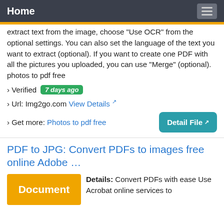Home
extract text from the image, choose "Use OCR" from the optional settings. You can also set the language of the text you want to extract (optional). If you want to create one PDF with all the pictures you uploaded, you can use "Merge" (optional). photos to pdf free
› Verified  7 days ago
› Url: Img2go.com  View Details ↗
› Get more: Photos to pdf free
PDF to JPG: Convert PDFs to images free online Adobe …
Details: Convert PDFs with ease Use Acrobat online services to